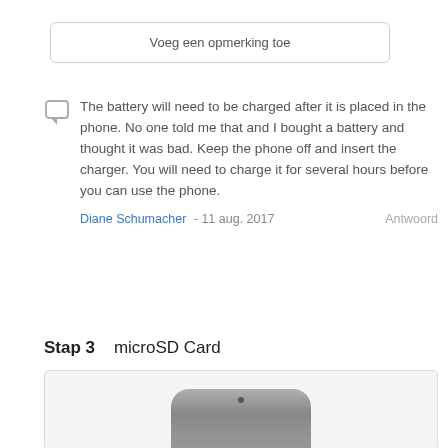Voeg een opmerking toe
The battery will need to be charged after it is placed in the phone. No one told me that and I bought a battery and thought it was bad. Keep the phone off and insert the charger. You will need to charge it for several hours before you can use the phone.
Diane Schumacher - 11 aug. 2017   Antwoord
Stap 3    microSD Card
[Figure (photo): Photo of a phone showing microSD card slot area, partially visible at the bottom of the page]